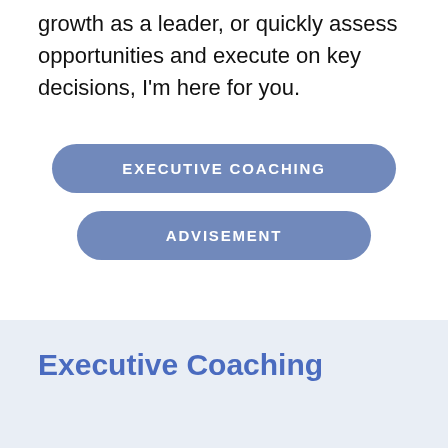growth as a leader, or quickly assess opportunities and execute on key decisions, I'm here for you.
EXECUTIVE COACHING
ADVISEMENT
Executive Coaching